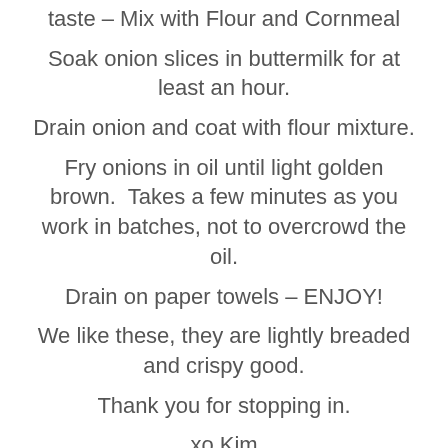taste – Mix with Flour and Cornmeal
Soak onion slices in buttermilk for at least an hour.
Drain onion and coat with flour mixture.
Fry onions in oil until light golden brown.  Takes a few minutes as you work in batches, not to overcrowd the oil.
Drain on paper towels – ENJOY!
We like these, they are lightly breaded and crispy good.
Thank you for stopping in.
xo Kim